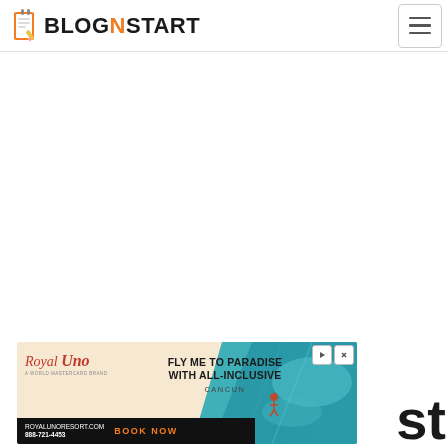BLOGNSTART
[Figure (photo): Advertisement banner for Royal Uno resort. Left side shows logo 'Royal Uno' in italic red serif font with tagline 'A WORLD MASTERCARD BRAND', website royalunoresort.com, phone 888-721-4453. Center text reads 'FLY ME TO PARADISE WITH ALL-INCLUSIVE CANCUN'. Right side shows a teal aerial beach/ocean photo. Bottom has black bar with 'BOOK NOW' in orange text. Ad controls (play and close buttons) visible in top right corner of ad.]
st